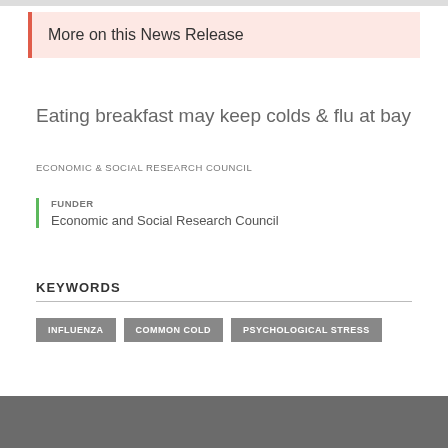More on this News Release
Eating breakfast may keep colds & flu at bay
ECONOMIC & SOCIAL RESEARCH COUNCIL
FUNDER
Economic and Social Research Council
KEYWORDS
INFLUENZA
COMMON COLD
PSYCHOLOGICAL STRESS